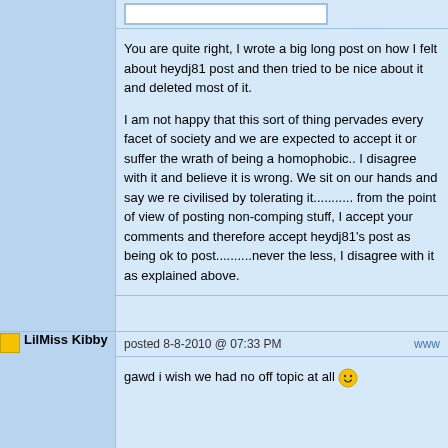You are quite right, I wrote a big long post on how I felt about heydj81 post and then tried to be nice about it and deleted most of it.

I am not happy that this sort of thing pervades every facet of society and we are expected to accept it or suffer the wrath of being a homophobic.. I disagree with it and believe it is wrong. We sit on our hands and say we re civilised by tolerating it........... from the point of view of posting non-comping stuff, I accept your comments and therefore accept heydj81's post as being ok to post..........never the less, I disagree with it as explained above.
posted 8-8-2010 @ 07:33 PM
LilMiss Kibby
gawd i wish we had no off topic at all
posted 8-8-2010 @ 07:34 PM
Cass